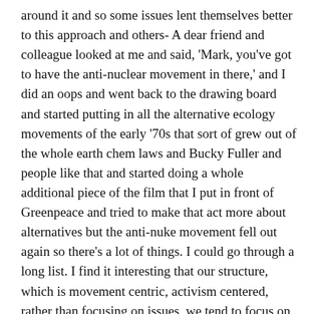around it and so some issues lent themselves better to this approach and others- A dear friend and colleague looked at me and said, 'Mark, you've got to have the anti-nuclear movement in there,' and I did an oops and went back to the drawing board and started putting in all the alternative ecology movements of the early '70s that sort of grew out of the whole earth chem laws and Bucky Fuller and people like that and started doing a whole additional piece of the film that I put in front of Greenpeace and tried to make that act more about alternatives but the anti-nuke movement fell out again so there's a lot of things. I could go through a long list. I find it interesting that our structure, which is movement centric, activism centered, rather than focusing on issues, we tend to focus on movements and activism, what people are doing to take up these issues and fight them, that brought different choices to us. Up until this point, nobody had told Love Canal's story